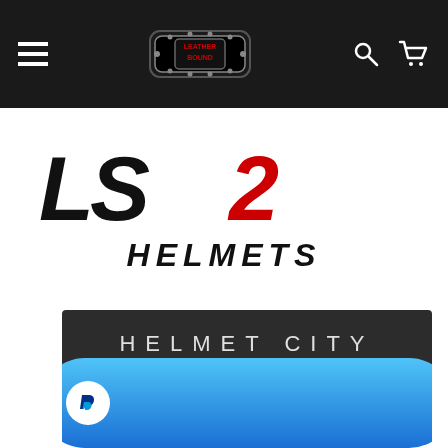[Figure (screenshot): Navigation bar with hamburger menu icon on left, Leather Bound belt logo in center, search and cart icons on right, dark background]
[Figure (logo): LS2 Helmets logo in black and red italic style lettering on white background]
[Figure (screenshot): Helmet City dark background banner text, with PayPal branded blue gradient button at bottom]